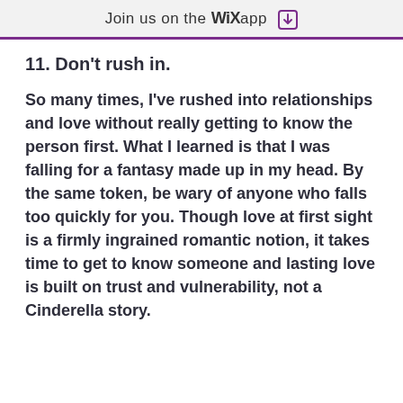Join us on the WiX app ↓
11. Don't rush in.
So many times, I've rushed into relationships and love without really getting to know the person first. What I learned is that I was falling for a fantasy made up in my head. By the same token, be wary of anyone who falls too quickly for you. Though love at first sight is a firmly ingrained romantic notion, it takes time to get to know someone and lasting love is built on trust and vulnerability, not a Cinderella story.